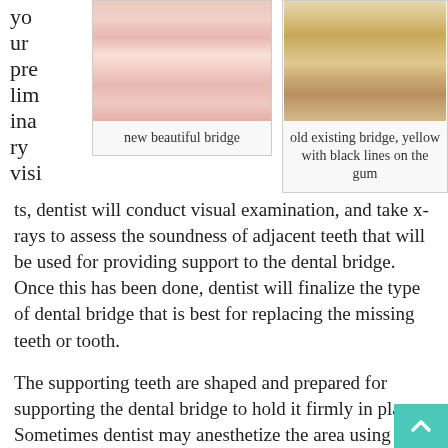your preliminary visits, dentist will conduct visual examination, and take x-rays to assess the soundness of adjacent teeth that will be used for providing support to the dental bridge. Once this has been done, dentist will finalize the type of dental bridge that is best for replacing the missing teeth or tooth.
[Figure (photo): Close-up photo of a new beautiful dental bridge showing white teeth with healthy pink gums]
new beautiful bridge
[Figure (photo): Close-up photo of an old existing dental bridge showing yellow teeth with black lines on the gum]
old existing bridge, yellow with black lines on the gum
The supporting teeth are shaped and prepared for supporting the dental bridge to hold it firmly in place. Sometimes dentist may anesthetize the area using a local anesthetic. Once preparation part is over, dentist will take impressions of your teeth, and they will be sent for the